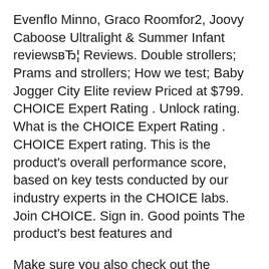Evenflo Minno, Graco Roomfor2, Joovy Caboose Ultralight & Summer Infant reviewsвЂ¦ Reviews. Double strollers; Prams and strollers; How we test; Baby Jogger City Elite review Priced at $799. CHOICE Expert Rating . Unlock rating. What is the CHOICE Expert Rating . CHOICE Expert rating. This is the product's overall performance score, based on key tests conducted by our industry experts in the CHOICE labs. Join CHOICE. Sign in. Good points The product's best features and
Make sure you also check out the Choose Double Stroller, Awesome Double Stroller, Delta Children City Street, City Select Double Stroller,